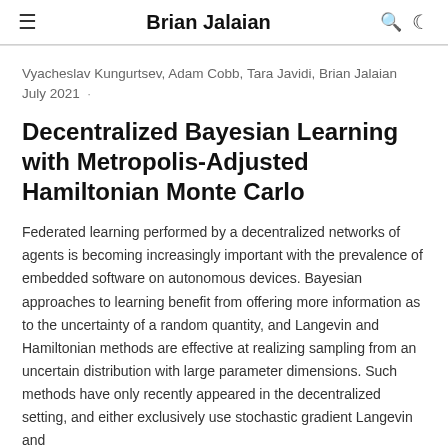Brian Jalaian
Vyacheslav Kungurtsev, Adam Cobb, Tara Javidi, Brian Jalaian
July 2021 ·
Decentralized Bayesian Learning with Metropolis-Adjusted Hamiltonian Monte Carlo
Federated learning performed by a decentralized networks of agents is becoming increasingly important with the prevalence of embedded software on autonomous devices. Bayesian approaches to learning benefit from offering more information as to the uncertainty of a random quantity, and Langevin and Hamiltonian methods are effective at realizing sampling from an uncertain distribution with large parameter dimensions. Such methods have only recently appeared in the decentralized setting, and either exclusively use stochastic gradient Langevin and